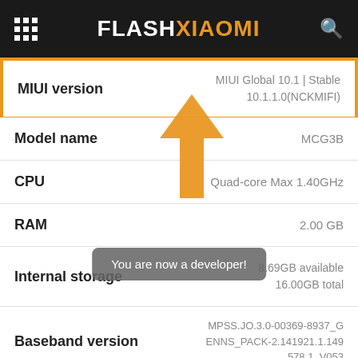FLASHXIAOMI
| Field | Value |
| --- | --- |
| MIUI version | MIUI Global 10.1 | Stable
10.1.1.0(NCKMIFI) |
| Model name | MCG3B |
| CPU | Quad-core Max 1.40GHz |
| RAM | 2.00 GB |
| Internal storage | 8.69GB available
16.00GB total |
| Baseband version | MPSS.JO.3.0-00369-8937_G
ENNS_PACK-2.141921.1.149
578.1_V053 |
[Figure (infographic): Orange arrow pointing upward to the MIUI version row, indicating where to tap to become a developer]
You are now a developer!